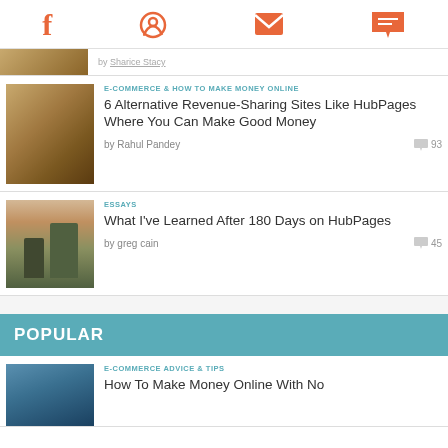Social icons: Facebook, Pinterest, Email, Chat
[Figure (screenshot): Partial article card with thumbnail (coins/warm tones) and author line partially visible at top]
E-COMMERCE & HOW TO MAKE MONEY ONLINE
6 Alternative Revenue-Sharing Sites Like HubPages Where You Can Make Good Money
by Rahul Pandey  93
ESSAYS
What I've Learned After 180 Days on HubPages
by greg cain  45
POPULAR
E-COMMERCE ADVICE & TIPS
How To Make Money Online With No